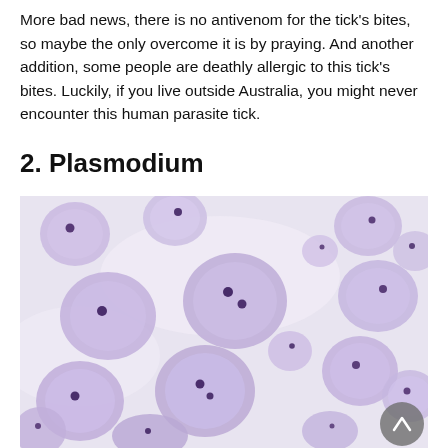More bad news, there is no antivenom for the tick's bites, so maybe the only overcome it is by praying. And another addition, some people are deathly allergic to this tick's bites. Luckily, if you live outside Australia, you might never encounter this human parasite tick.
2. Plasmodium
[Figure (photo): Microscopic image of red blood cells infected with Plasmodium parasites. The cells appear as round, lavender/purple-tinted circles with dark purple dots (parasites) visible inside many of them, on a light background.]